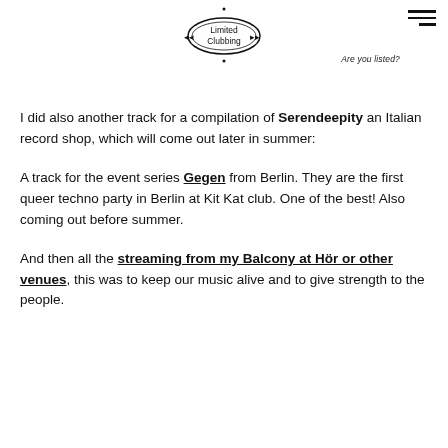Limited Clubbing
Are you listed?
I did also another track for a compilation of Serendeepity an Italian record shop, which will come out later in summer:
A track for the event series Gegen from Berlin. They are the first queer techno party in Berlin at Kit Kat club. One of the best! Also coming out before summer.
And then all the streaming from my Balcony at Hör or other venues, this was to keep our music alive and to give strength to the people.